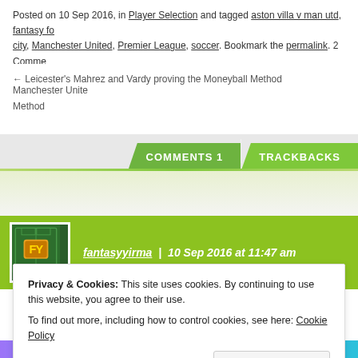Posted on 10 Sep 2016, in Player Selection and tagged aston villa v man utd, fantasy fo... city, Manchester United, Premier League, soccer. Bookmark the permalink. 2 Comme...
← Leicester's Mahrez and Vardy proving the Moneyball Method   Manchester Unite...
COMMENTS 1   TRACKBACKS
[Figure (logo): FY fantasy football logo - green football pitch background with FY text in gold on orange badge]
fantasyyirma | 10 Sep 2016 at 11:47 am
Privacy & Cookies: This site uses cookies. By continuing to use this website, you agree to their use.
To find out more, including how to control cookies, see here: Cookie Policy
Close and accept